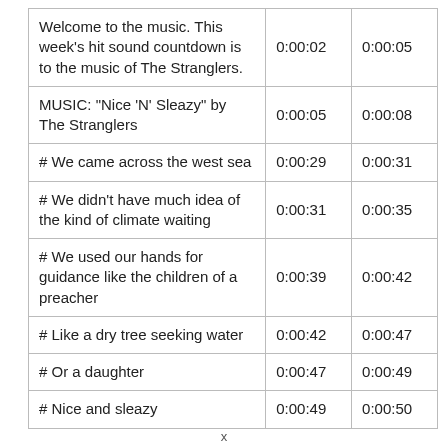|  |  |  |
| --- | --- | --- |
| Welcome to the music. This week's hit sound countdown is to the music of The Stranglers. | 0:00:02 | 0:00:05 |
| MUSIC: "Nice 'N' Sleazy" by The Stranglers | 0:00:05 | 0:00:08 |
| # We came across the west sea | 0:00:29 | 0:00:31 |
| # We didn't have much idea of the kind of climate waiting | 0:00:31 | 0:00:35 |
| # We used our hands for guidance like the children of a preacher | 0:00:39 | 0:00:42 |
| # Like a dry tree seeking water | 0:00:42 | 0:00:47 |
| # Or a daughter | 0:00:47 | 0:00:49 |
| # Nice and sleazy | 0:00:49 | 0:00:50 |